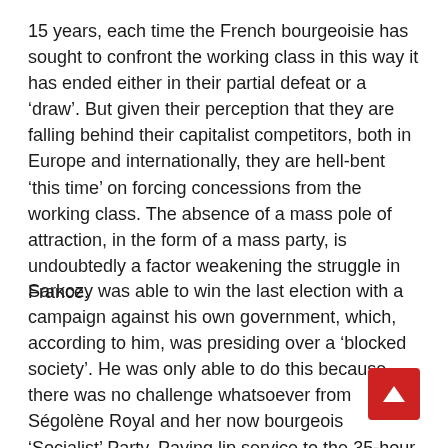15 years, each time the French bourgeoisie has sought to confront the working class in this way it has ended either in their partial defeat or a 'draw'. But given their perception that they are falling behind their capitalist competitors, both in Europe and internationally, they are hell-bent 'this time' on forcing concessions from the working class. The absence of a mass pole of attraction, in the form of a mass party, is undoubtedly a factor weakening the struggle in France.
Sarkozy was able to win the last election with a campaign against his own government, which, according to him, was presiding over a 'blocked society'. He was only able to do this because there was no challenge whatsoever from Ségolène Royal and her now bourgeois 'Socialist' Party. Paying lip service to the 35-hour week, she immediately repudiated this after the election. Even in 1995, when the French workers defeated the bourgeois and its 'Juppé plan', the lack of a mass political alternative was palpable. The capitalists could be forced then but because there was no alternative government a mass political party to advance this, all the necessary